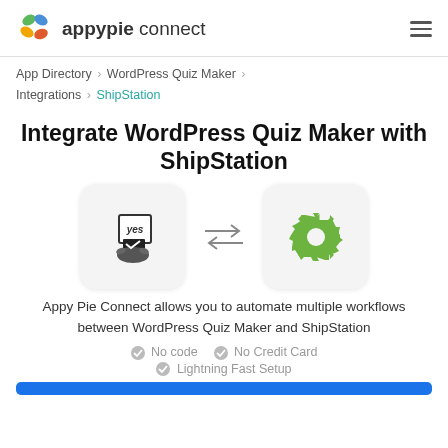appypie connect
App Directory > WordPress Quiz Maker > Integrations > ShipStation
Integrate WordPress Quiz Maker with ShipStation
[Figure (illustration): WordPress Quiz Maker app icon (hand with yes ballot) and ShipStation app icon (green gear), connected by bidirectional arrows]
Appy Pie Connect allows you to automate multiple workflows between WordPress Quiz Maker and ShipStation
No code   No Credit Card   Lightning Fast Setup